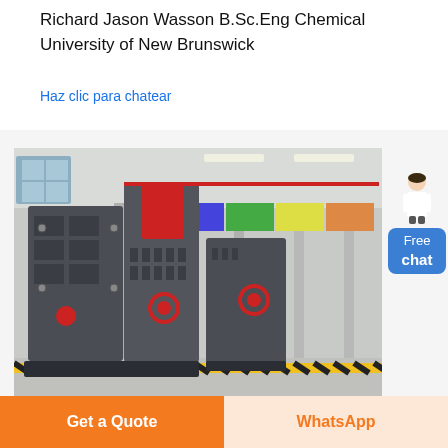Richard Jason Wasson B.Sc.Eng Chemical University of New Brunswick
Haz clic para chatear
[Figure (photo): Industrial metal shredder/hammer mill machine in grey and red colors displayed in a factory/exhibition hall with international flags in the background and yellow hazard tape on the floor.]
Jet, JMD18 350018 230 Volt 1 Phase
Get a Quote
WhatsApp